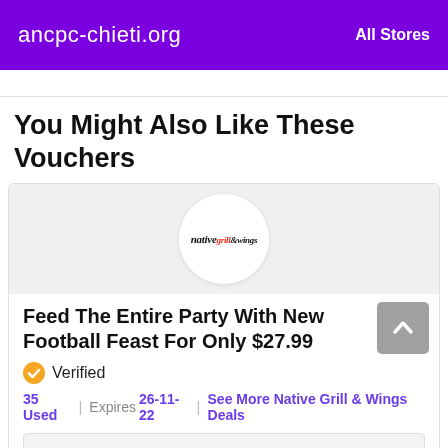ancpc-chieti.org   All Stores
You Might Also Like These Vouchers
[Figure (logo): Native Grill & Wings circular logo on grey background]
Feed The Entire Party With New Football Feast For Only $27.99
Verified
35 Used | Expires 26-11-22 | See More Native Grill & Wings Deals
Get Deal